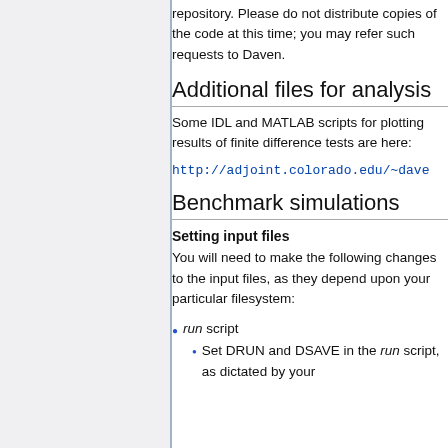repository. Please do not distribute copies of the code at this time; you may refer such requests to Daven.
Additional files for analysis
Some IDL and MATLAB scripts for plotting results of finite difference tests are here:
http://adjoint.colorado.edu/~dave
Benchmark simulations
Setting input files
You will need to make the following changes to the input files, as they depend upon your particular filesystem:
run script
Set DRUN and DSAVE in the run script, as dictated by your